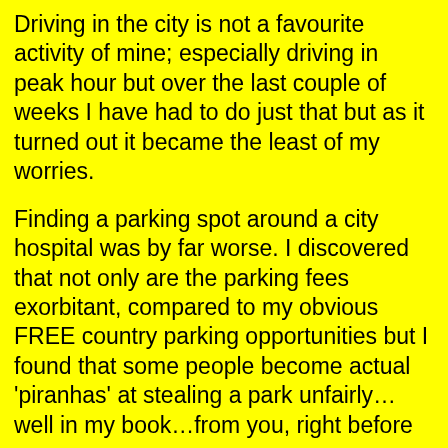Driving in the city is not a favourite activity of mine; especially driving in peak hour but over the last couple of weeks I have had to do just that but as it turned out it became the least of my worries.
Finding a parking spot around a city hospital was by far worse. I discovered that not only are the parking fees exorbitant, compared to my obvious FREE country parking opportunities but I found that some people become actual 'piranhas' at stealing a park unfairly...well in my book...from you, right before your very eyes.
One day I was the first in line for a parking spot. I was waiting patiently for the person to exit out and the next thing right before my eyes a person in a smaller vehicle than mine ignored me with my indicator on and about to pull in and just zipped right on in, in front